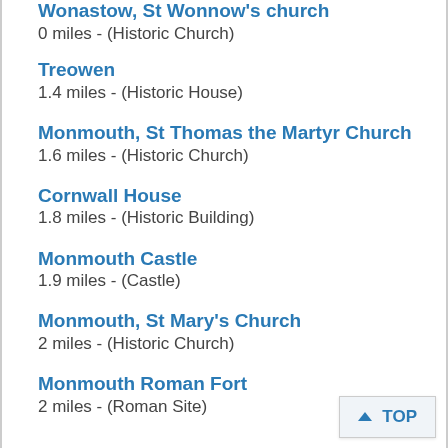Wonastow, St Wonnow's church
0 miles - (Historic Church)
Treowen
1.4 miles - (Historic House)
Monmouth, St Thomas the Martyr Church
1.6 miles - (Historic Church)
Cornwall House
1.8 miles - (Historic Building)
Monmouth Castle
1.9 miles - (Castle)
Monmouth, St Mary's Church
2 miles - (Historic Church)
Monmouth Roman Fort
2 miles - (Roman Site)